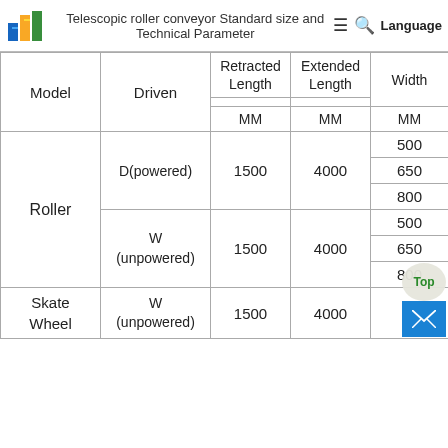Telescopic roller conveyor Standard size and Technical Parameter
| Model | Driven | Retracted Length MM | Extended Length MM | Width MM |
| --- | --- | --- | --- | --- |
| Roller | D(powered) | 1500 | 4000 | 500 |
| Roller | D(powered) | 1500 | 4000 | 650 |
| Roller | D(powered) | 1500 | 4000 | 800 |
| Roller | W (unpowered) | 1500 | 4000 | 500 |
| Roller | W (unpowered) | 1500 | 4000 | 650 |
| Roller | W (unpowered) | 1500 | 4000 | 800 |
| Skate Wheel | W (unpowered) | 1500 | 4000 |  |